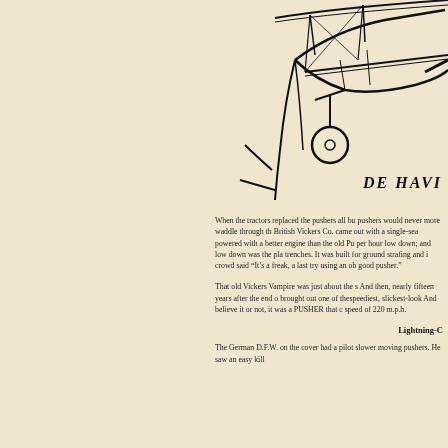[Figure (illustration): Line drawing of a WWI-era aircraft (partial view), with text 'DE HAVI' visible next to it — appears to be a De Havilland aircraft illustration cropped at right edge.]
When the tractors replaced the pushers all bu pushers would never more waddle through th British Vickers Co. came out with a single-sea powered with a better engine than the old Pu per hour low down; and low down was the pla trenches. It was built for ground strafing and i crowd said "It's a freak, a last try using an ob good pusher."
That old Vickers Vampire was just about the s And then, nearly fifteen years after the end o brought out one of thespeediest, slickest-look And believe it or not, it was a PUSHER that c speed of 220 m.p.h.
Lightning-C
The German D.F.W. on the cover had a pilot slower moving pushers. He saw an easy kill